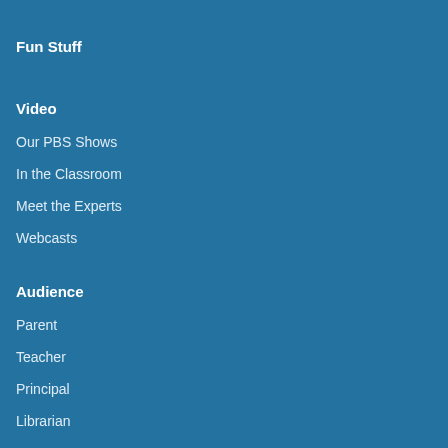Fun Stuff
Video
Our PBS Shows
In the Classroom
Meet the Experts
Webcasts
Audience
Parent
Teacher
Principal
Librarian
Literacy Volunteer
Preschool Teacher